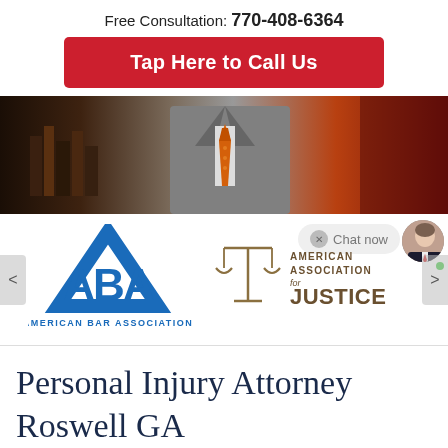Free Consultation: 770-408-6364
Tap Here to Call Us
[Figure (photo): Hero image showing a lawyer in a gray suit with an orange tie, with law books visible on the left and a red/brown background on the right]
[Figure (logo): American Bar Association (ABA) logo in blue with triangle letter-mark and text 'AMERICAN BAR ASSOCIATION']
[Figure (logo): American Association for Justice logo with scales of justice icon and text 'AMERICAN ASSOCIATION for JUSTICE' in dark gold/brown]
Personal Injury Attorney Roswell GA